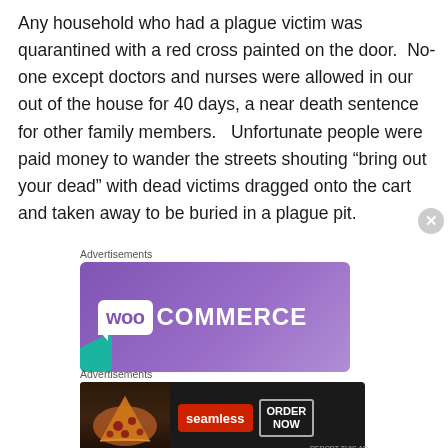Any household who had a plague victim was quarantined with a red cross painted on the door.  No-one except doctors and nurses were allowed in our out of the house for 40 days, a near death sentence for other family members.   Unfortunate people were paid money to wander the streets shouting “bring out your dead” with dead victims dragged onto the cart and taken away to be buried in a plague pit.
[Figure (other): WooCommerce advertisement banner with purple gradient background and white speech bubble logo]
[Figure (other): Seamless food delivery advertisement with pizza image and ORDER NOW button on dark background]